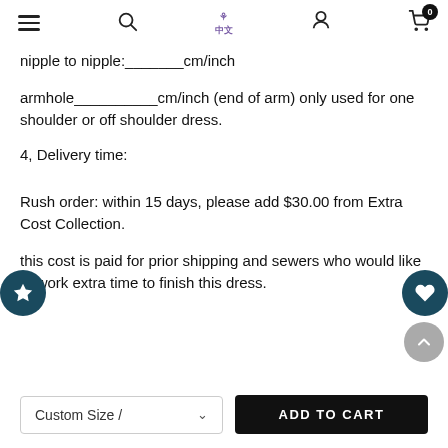navigation bar with hamburger menu, search, logo, user and cart icons
nipple to nipple:_______cm/inch
armhole__________cm/inch (end of arm) only used for one shoulder or off shoulder dress.
4, Delivery time:
Rush order: within 15 days, please add $30.00 from Extra Cost Collection.
this cost is paid for prior shipping and sewers who would like to work extra time to finish this dress.